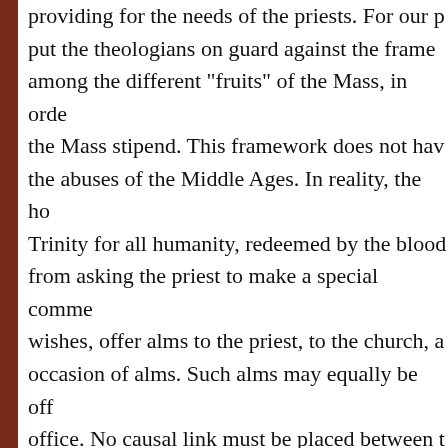providing for the needs of the priests. For our put the theologians on guard against the frame among the different "fruits" of the Mass, in orde the Mass stipend. This framework does not hav the abuses of the Middle Ages. In reality, the ho Trinity for all humanity, redeemed by the blood from asking the priest to make a special comme wishes, offer alms to the priest, to the church, a occasion of alms. Such alms may equally be off office. No causal link must be placed between t who cannot offer as much alms as the rich, rec necessary to return, on this point as on so man indulging in the rather partisan and trite ideas o No. 4 speaks of a "privileged" altar. It is bot